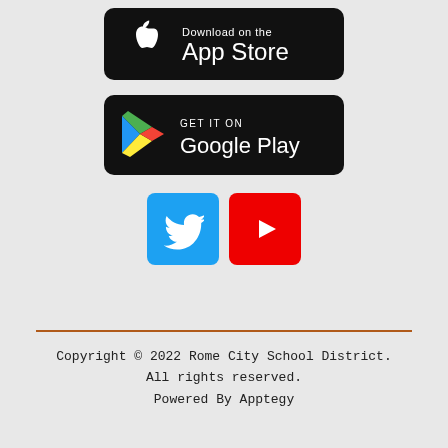[Figure (logo): Download on the App Store button — black rounded rectangle with Apple logo and text 'Download on the App Store']
[Figure (logo): Get it on Google Play button — black rounded rectangle with Google Play triangle logo and text 'GET IT ON Google Play']
[Figure (logo): Twitter and YouTube social media icon buttons side by side]
Copyright © 2022 Rome City School District.
All rights reserved.
Powered By Apptegy